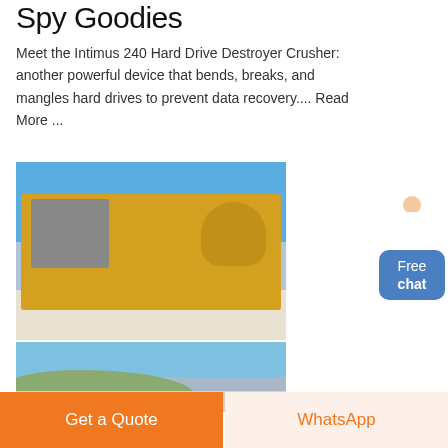Spy Goodies
Meet the Intimus 240 Hard Drive Destroyer Crusher: another powerful device that bends, breaks, and mangles hard drives to prevent data recovery.... Read More ...
[Figure (photo): Industrial crusher/mining machine with yellow machinery on white sandy ground against blue sky]
[Figure (photo): Quarry or mining site with rocky terrain and green hill against blue sky]
Free chat
Get a Quote
WhatsApp